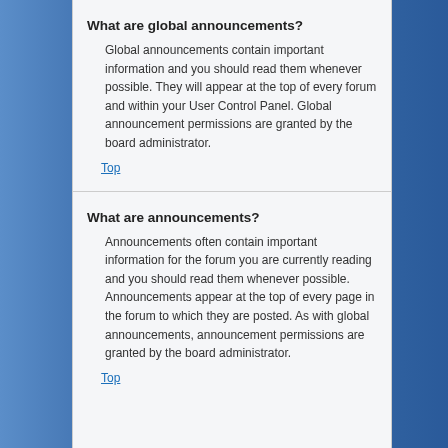What are global announcements?
Global announcements contain important information and you should read them whenever possible. They will appear at the top of every forum and within your User Control Panel. Global announcement permissions are granted by the board administrator.
Top
What are announcements?
Announcements often contain important information for the forum you are currently reading and you should read them whenever possible. Announcements appear at the top of every page in the forum to which they are posted. As with global announcements, announcement permissions are granted by the board administrator.
Top